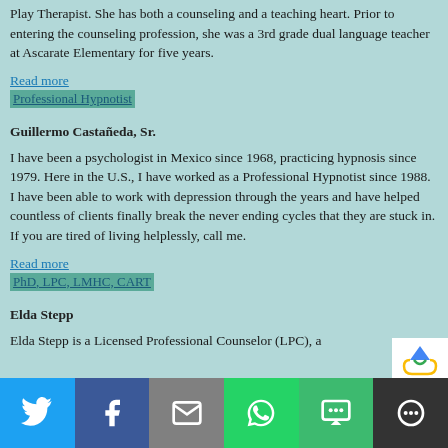Play Therapist. She has both a counseling and a teaching heart. Prior to entering the counseling profession, she was a 3rd grade dual language teacher at Ascarate Elementary for five years.
Read more
Professional Hypnotist
Guillermo Castañeda, Sr.
I have been a psychologist in Mexico since 1968, practicing hypnosis since 1979. Here in the U.S., I have worked as a Professional Hypnotist since 1988. I have been able to work with depression through the years and have helped countless of clients finally break the never ending cycles that they are stuck in. If you are tired of living helplessly, call me.
Read more
PhD, LPC, LMHC, CART
Elda Stepp
Elda Stepp is a Licensed Professional Counselor (LPC), a...